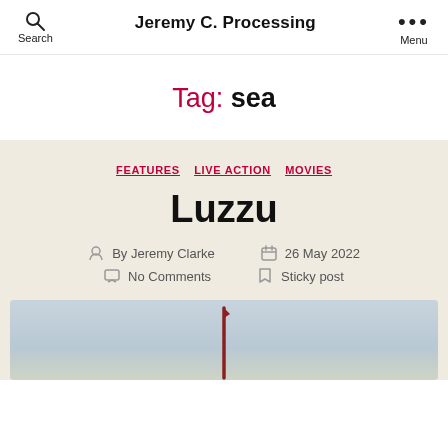Jeremy C. Processing | Search | Menu
Tag: sea
FEATURES  LIVE ACTION  MOVIES
Luzzu
By Jeremy Clarke  26 May 2022  No Comments  Sticky post
[Figure (photo): Partial image of a boat mast against a light sky, bottom portion of a blog post image for Luzzu]